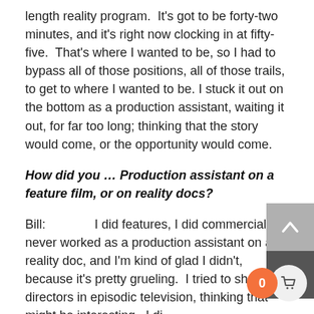length reality program.  It's got to be forty-two minutes, and it's right now clocking in at fifty-five.  That's where I wanted to be, so I had to bypass all of those positions, all of those trails, to get to where I wanted to be. I stuck it out on the bottom as a production assistant, waiting it out, for far too long; thinking that the story would come, or the opportunity would come.
How did you … Production assistant on a feature film, or on reality docs?
Bill:             I did features, I did commercials. I never worked as a production assistant on any reality doc, and I'm kind of glad I didn't, because it's pretty grueling.  I tried to shadow directors in episodic television, thinking that might be interesting.  I di. for awhile, but then I realized that as soon as you do